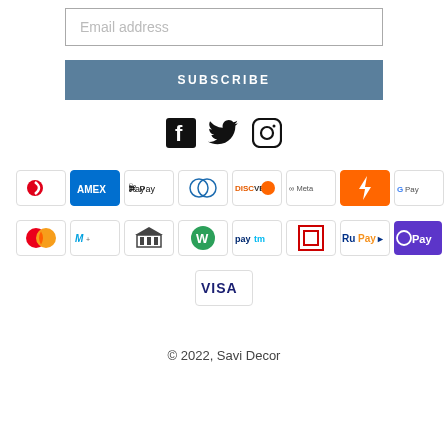Email address
SUBSCRIBE
[Figure (illustration): Social media icons: Facebook, Twitter, Instagram]
[Figure (illustration): Payment method badges: Airtel, Amex, Apple Pay, Diners Club, Discover, Meta Pay, Flashpay, Google Pay, Mastercard, Maestro, Bank, Webmoney, Paytm, Shieldpay, RuPay, OPay, Visa]
© 2022, Savi Decor